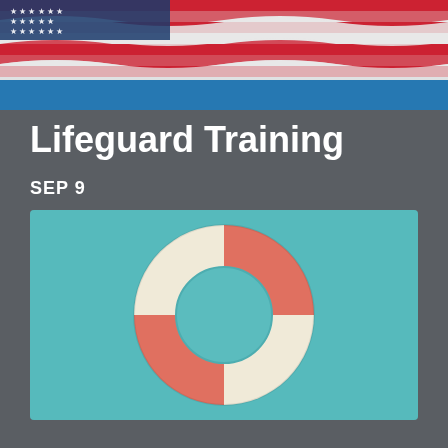[Figure (photo): American flag waving, red white and blue stripes visible, with blue banner below]
Lifeguard Training
SEP 9
[Figure (illustration): Life preserver ring / life ring donut shape in coral-red and cream/beige colors on a teal background, styled as a flat design icon]